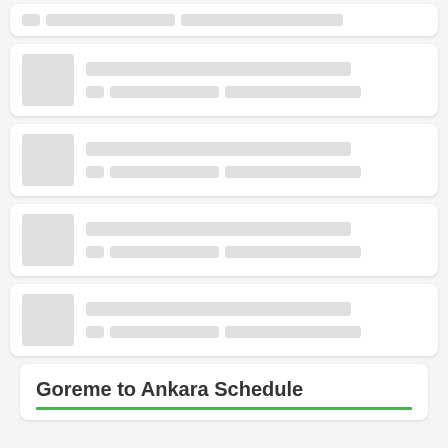[Figure (other): Partial skeleton loading card with placeholder lines at top of page]
[Figure (other): Skeleton loading card with thumbnail placeholder and two lines of placeholder text]
[Figure (other): Skeleton loading card with thumbnail placeholder and two lines of placeholder text]
[Figure (other): Skeleton loading card with thumbnail placeholder and two lines of placeholder text]
[Figure (other): Skeleton loading card with thumbnail placeholder and two lines of placeholder text]
Goreme to Ankara Schedule